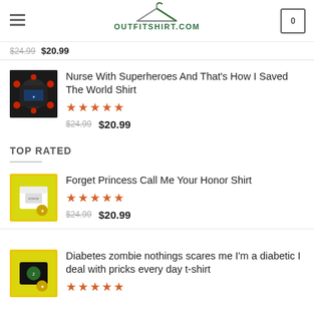OUTFITSHIRT.COM
$24.99  $20.99
[Figure (photo): Black t-shirt product image with superhero/nurse design on dark background with red decorative elements]
Nurse With Superheroes And That's How I Saved The World Shirt
★★★★★
$24.99  $20.99
TOP RATED
[Figure (photo): White t-shirt product image with colorful design on yellow/green background]
Forget Princess Call Me Your Honor Shirt
★★★★★
$24.99  $20.99
[Figure (photo): Black t-shirt product image with zombie/diabetes design on colorful background]
Diabetes zombie nothings scares me I'm a diabetic I deal with pricks every day t-shirt
★★★★★